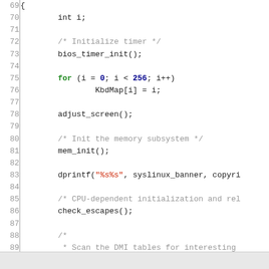[Figure (screenshot): Source code listing showing lines 69-92 of a C program. Code includes variable declaration, timer initialization, a for loop initializing KbdMap, screen adjustment, memory init, dprintf call, check_escapes, DMI table scan comment, and dmi_init call. Keywords 'for' in green, numeric literals '0' and '256' in dark blue bold, string literal "%s%s" in red.]